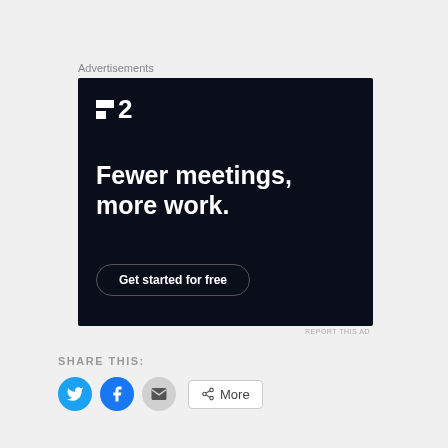Advertisements
[Figure (illustration): Advertisement for F2 productivity app with dark background, F2 logo at top left, large bold white text 'Fewer meetings, more work.' and a 'Get started for free' button with rounded border]
REPORT THIS AD
SHARE THIS:
Twitter icon, Facebook icon, Email icon, More button